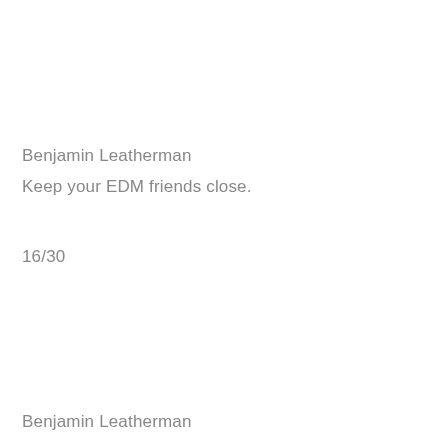Benjamin Leatherman
Keep your EDM friends close.
16/30
Benjamin Leatherman